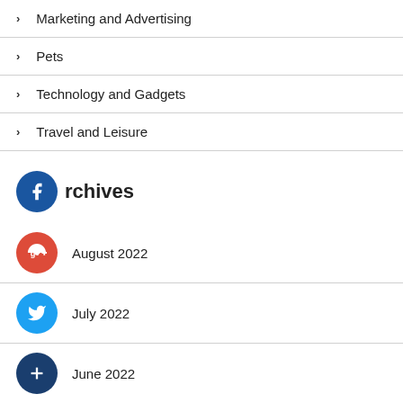Marketing and Advertising
Pets
Technology and Gadgets
Travel and Leisure
Archives
August 2022
July 2022
June 2022
May 2022